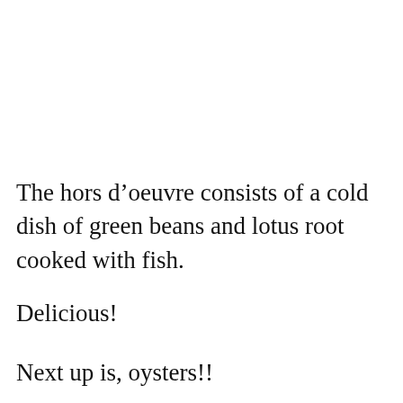The hors d’oeuvre consists of a cold dish of green beans and lotus root cooked with fish.
Delicious!
Next up is, oysters!!
[Figure (photo): Close-up photo of oysters on a plate with dark sauce]